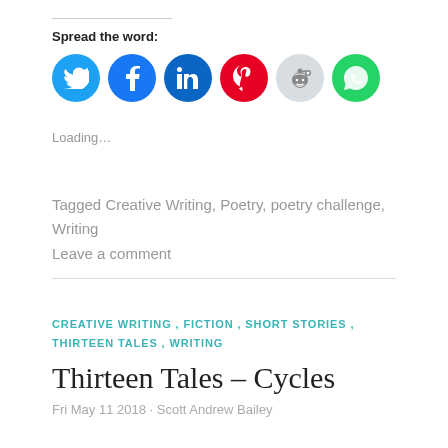Spread the word:
[Figure (infographic): Row of six circular social media share buttons: Twitter (blue), Facebook (blue), LinkedIn (dark blue), Pinterest (red), Reddit (light gray), WhatsApp (green)]
Loading…
Tagged Creative Writing, Poetry, poetry challenge, Writing
Leave a comment
CREATIVE WRITING , FICTION , SHORT STORIES , THIRTEEN TALES , WRITING
Thirteen Tales – Cycles
Fri May 11 2018 · Scott Andrew Bailey